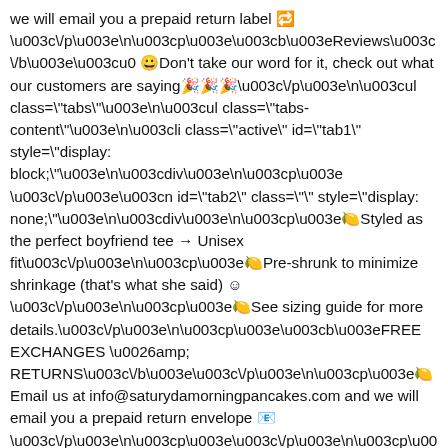we will email you a prepaid return label 🔁 </p>
<p><b>Reviews</b>< Don't take our word for it, check out what our customers are saying 🎉🎉</p>
<ul class="tabs">
<ul class="tabs-content">
<li class="active" id="tab1" style="display: block;">
<div>
<p> </p>
 id="tab2" class="" style="display: none;">
<div>
<p>🍋Styled as the perfect boyfriend tee → Unisex fit</p>
<p>🍋Pre-shrunk to minimize shrinkage (that's what she said) 😊 </p>
<p>🍋See sizing guide for more details.</p>
<p><b>FREE EXCHANGES &amp; RETURNS</b></p>
<p>🍋 Email us at info@saturydamorningpancakes.com and we will email you a prepaid return envelope 📧 </p>
<p></p>
<p>Easy Peasy Lemon Squeezy 🍋 </p>
<p> </p>
<p></p>
<div> id="tab3" class="" style="display: none;">
<div>
<p>🍋Please allow 2-3 business days for processing. Our girls, Kenzie and Abbie are working their booties off to get all the orders out (with appropriate help from lemon farmer friends)